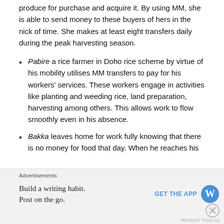produce for purchase and acquire it. By using MM, she is able to send money to these buyers of hers in the nick of time. She makes at least eight transfers daily during the peak harvesting season.
Pabire a rice farmer in Doho rice scheme by virtue of his mobility utilises MM transfers to pay for his workers' services. These workers engage in activities like planting and weeding rice, land preparation, harvesting among others. This allows work to flow smoothly even in his absence.
Bakka leaves home for work fully knowing that there is no money for food that day. When he reaches his
Advertisements
Build a writing habit. Post on the go.